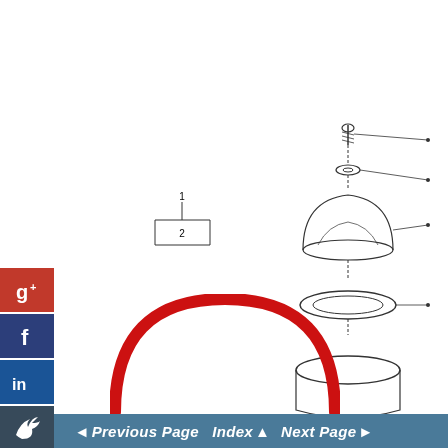[Figure (schematic): Small schematic diagram showing numbered components (1 and 2) with bracket/connector lines]
[Figure (engineering-diagram): Exploded view engineering diagram of mechanical assembly components including screw, washer, dome cap, gasket ring, and base part with leader lines pointing to each component]
[Figure (illustration): Large red semicircular arc (partial circle) visible at bottom center of page]
◄ Previous Page  Index ▲  Next Page ►